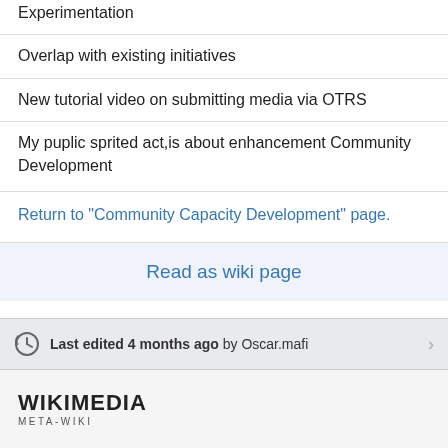Experimentation
Overlap with existing initiatives
New tutorial video on submitting media via OTRS
My puplic sprited act,is about enhancement Community Development
Return to "Community Capacity Development" page.
Read as wiki page
Last edited 4 months ago by Oscar.mafi
[Figure (logo): Wikimedia Meta-Wiki logo]